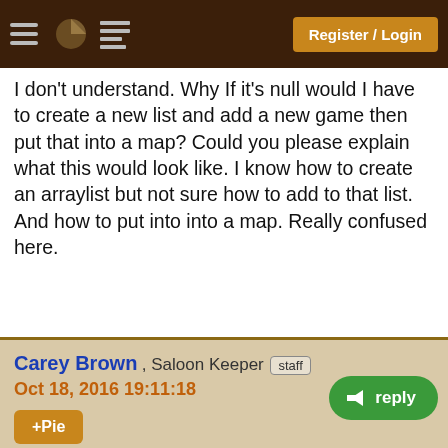Register / Login
I don't understand. Why If it's null would I have to create a new list and add a new game then put that into a map? Could you please explain what this would look like. I know how to create an arraylist but not sure how to add to that list. And how to put into into a map. Really confused here.
Carey Brown , Saloon Keeper staff
Oct 18, 2016 19:11:18
+Pie
Justin Robbins wrote:
Carey Brown wrote:
You already have gamesTaking, which is a list of games, just add your new games to that list. However, if gamesTaking is null, then you have to create a new list, add the new game, and put it into the map.